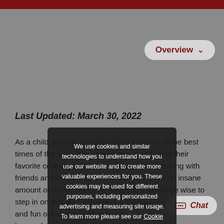[Figure (other): Top dark red banner strip at the top of the page]
Overview ∨
Last Updated: March 30, 2022
As a child growing up, Halloween was one of the best times of the year. They get to play dress-up in their favorite costumes. They get to go trick-or-treating with friends and family. And of course, they store an insane amount of sweet treats. As a parent, it would be wise to step in on that last one. We're not saying ban the sugar and fun out of the holiday. Nope. We just have a few helpful ways to make Hallowee...
We use cookies and similar technologies to understand how you use our website and to create more valuable experiences for you. These cookies may be used for different purposes, including personalized advertising and measuring site usage. To learn more please see our Cookie Policy. You can change your preferences at any time through our Cookie preferences tool.
Accept
Chat